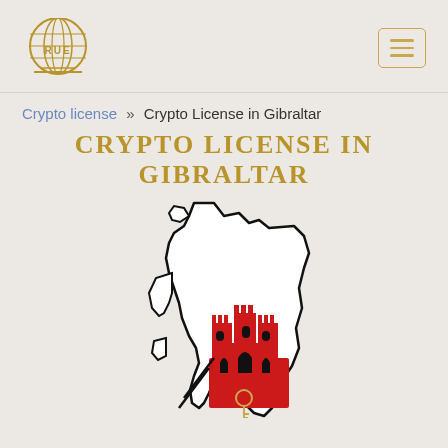RUE logo and navigation menu
Crypto license » Crypto License in Gibraltar
CRYPTO LICENSE IN GIBRALTAR
[Figure (illustration): Outline map of Gibraltar overlaid with the Gibraltar coat of arms featuring a red castle with three towers on a white and red background, with crossed keys symbol below]